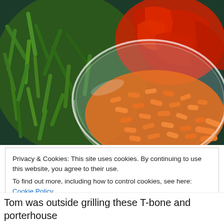[Figure (photo): Photo of vegetables including green beans, red bell pepper slices, and baby carrots in a glass bowl on a dark surface]
Privacy & Cookies: This site uses cookies. By continuing to use this website, you agree to their use.
To find out more, including how to control cookies, see here: Cookie Policy
Close and accept
Tom was outside grilling these T-bone and porterhouse